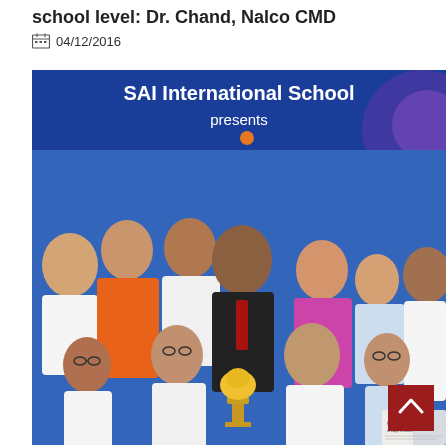school level: Dr. Chand, Nalco CMD
04/12/2016
[Figure (photo): Group photo of students and adults at SAI International School event. A banner reads 'SAI International School presents'. Several students in white uniforms and adults are posing together, with some students holding a golden trophy. A scroll-to-top button (dark red with upward chevron) is visible in the bottom right corner.]